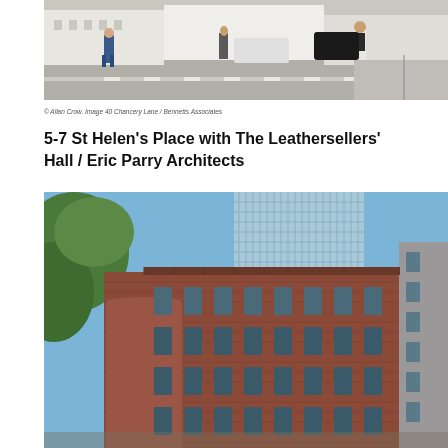[Figure (photo): Street scene in London showing pedestrians crossing a road with cars, white buildings in the background]
© Allan Crow. Image 40 Chancery Lane / Bennetts Associates
5-7 St Helen's Place with The Leathersellers' Hall / Eric Parry Architects
[Figure (photo): Exterior view of a red brick mixed-use building with a modern glass tower rising behind it, photographed from street level through foliage]